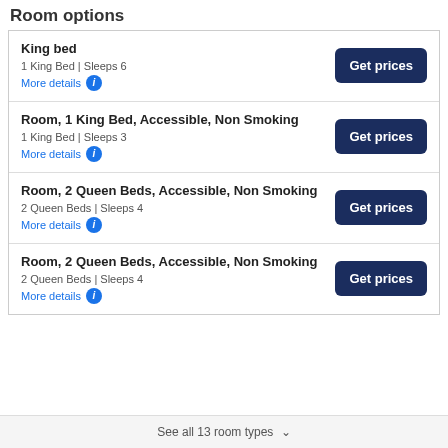Room options
King bed — 1 King Bed | Sleeps 6 — More details [i] — Get prices
Room, 1 King Bed, Accessible, Non Smoking — 1 King Bed | Sleeps 3 — More details [i] — Get prices
Room, 2 Queen Beds, Accessible, Non Smoking — 2 Queen Beds | Sleeps 4 — More details [i] — Get prices
Room, 2 Queen Beds, Accessible, Non Smoking — 2 Queen Beds | Sleeps 4 — More details [i] — Get prices
See all 13 room types ▾